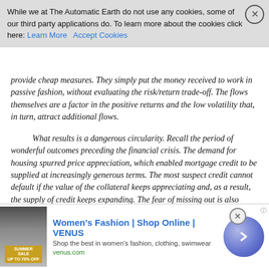While we at The Automatic Earth do not use any cookies, some of our third party applications do. To learn more about the cookies click here: Learn More  Accept Cookies
provide cheap measures. They simply put the money received to work in passive fashion, without evaluating the risk/return trade-off. The flows themselves are a factor in the positive returns and the low volatility that, in turn, attract additional flows.
What results is a dangerous circularity. Recall the period of wonderful outcomes preceding the financial crisis. The demand for housing spurred price appreciation, which enabled mortgage credit to be supplied at increasingly generous terms. The most suspect credit cannot default if the value of the collateral keeps appreciating and, as a result, the supply of credit keeps expanding. The fear of missing out is also supremely powerful. The conservative individual becomes less so when he or she sees a neighbor flipping houses with success. Similarly, the conservative lender is forced to compete with more aggressive suppliers of credit. For lenders, not being accommodative
[Figure (other): Advertisement banner for Women's Fashion | Shop Online | VENUS. Shows a sale image on the left, ad text in the middle, and a circular arrow button on the right.]